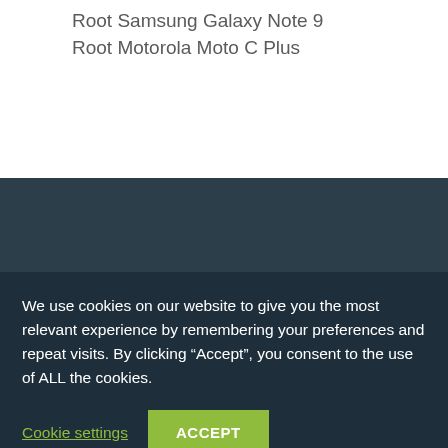Root Samsung Galaxy Note 9
Root Motorola Moto C Plus
We use cookies on our website to give you the most relevant experience by remembering your preferences and repeat visits. By clicking “Accept”, you consent to the use of ALL the cookies.
Cookie settings
ACCEPT